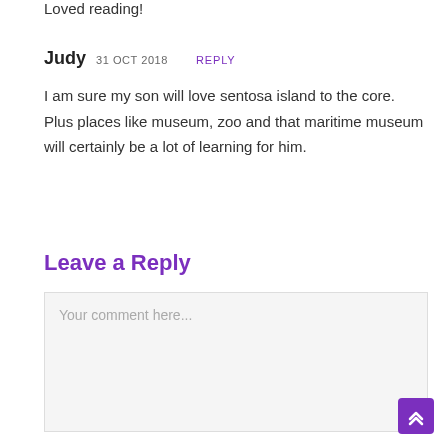Loved reading!
Judy  31 OCT 2018  REPLY
I am sure my son will love sentosa island to the core. Plus places like museum, zoo and that maritime museum will certainly be a lot of learning for him.
Leave a Reply
Your comment here...